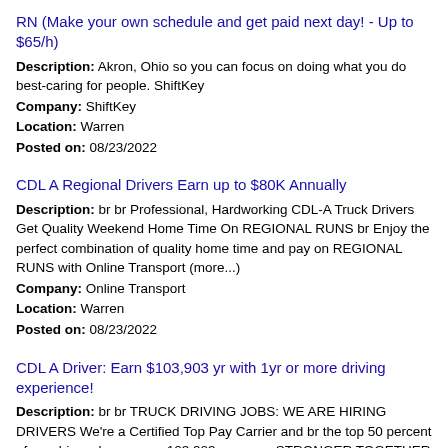RN (Make your own schedule and get paid next day! - Up to $65/h)
Description: Akron, Ohio so you can focus on doing what you do best-caring for people. ShiftKey Company: ShiftKey Location: Warren Posted on: 08/23/2022
CDL A Regional Drivers Earn up to $80K Annually
Description: br br Professional, Hardworking CDL-A Truck Drivers Get Quality Weekend Home Time On REGIONAL RUNS br Enjoy the perfect combination of quality home time and pay on REGIONAL RUNS with Online Transport (more...) Company: Online Transport Location: Warren Posted on: 08/23/2022
CDL A Driver: Earn $103,903 yr with 1yr or more driving experience!
Description: br br TRUCK DRIVING JOBS: WE ARE HIRING DRIVERS We're a Certified Top Pay Carrier and br the top 50 percent of our drivers br average 103,903 per year. STRONGER TOGETHER br It s part of the (more...)